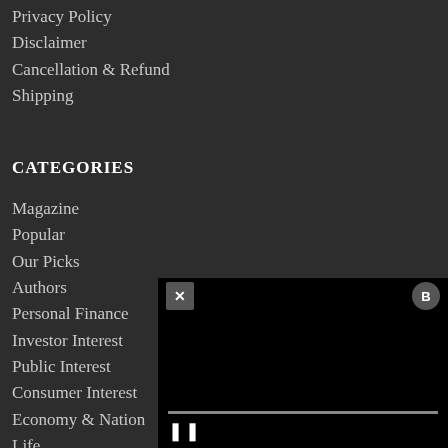Privacy Policy
Disclaimer
Cancellation & Refund
Shipping
CATEGORIES
Magazine
Popular
Our Picks
Authors
Personal Finance
Investor Interest
Public Interest
Consumer Interest
Economy & Nation
Life
[Figure (screenshot): Video player widget in bottom-right corner with close (X) button, brand icon (B), black video area, progress bar, and pause button controls.]